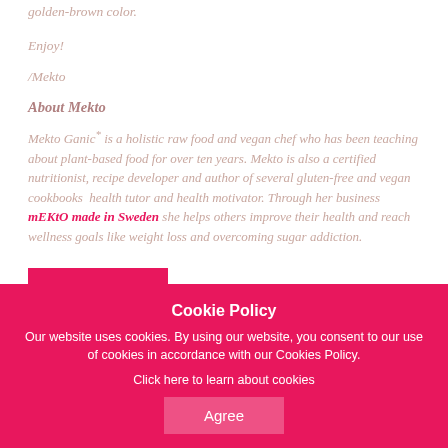golden-brown color.
Enjoy!
/Mekto
About Mekto
Mekto Ganic* is a holistic raw food and vegan chef who has been teaching about plant-based food for over ten years. Mekto is also a certified nutritionist, recipe developer and author of several gluten-free and vegan cookbooks  health tutor and health motivator. Through her business mEKtO made in Sweden she helps others improve their health and reach wellness goals like weight loss and overcoming sugar addiction.
Read more >
Cookie Policy
Our website uses cookies. By using our website, you consent to our use of cookies in accordance with our Cookies Policy.
Click here to learn about cookies
Agree